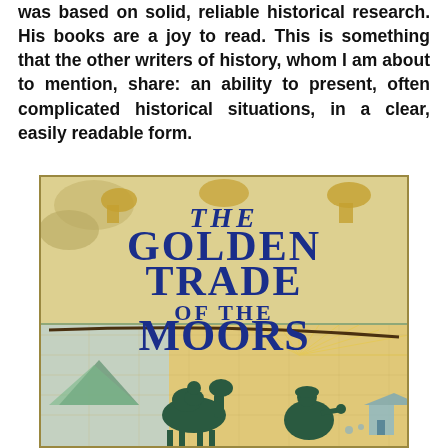was based on solid, reliable historical research. His books are a joy to read. This is something that the other writers of history, whom I am about to mention, share: an ability to present, often complicated historical situations, in a clear, easily readable form.
[Figure (illustration): Book cover of 'The Golden Trade of the Moors' showing decorative medieval/Islamic style artwork with large blue serif title text on cream/yellow background. Lower half shows a map-style illustration with camel, merchant figure, and seated figure in teal/dark green on yellow background with geometric patterns.]